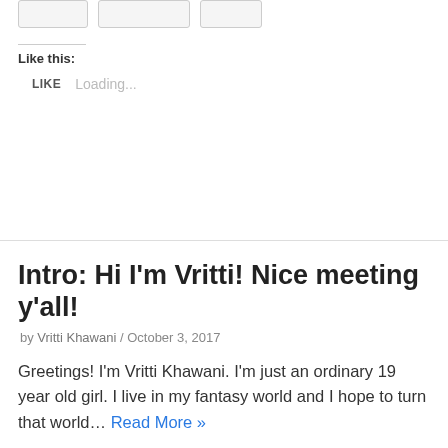Like this:
LIKE Loading...
Intro: Hi I'm Vritti! Nice meeting y'all!
by Vritti Khawani / October 3, 2017
Greetings! I'm Vritti Khawani. I'm just an ordinary 19 year old girl. I live in my fantasy world and I hope to turn that world… Read More »
Share this: